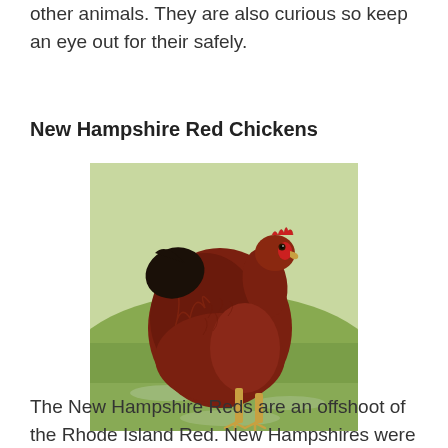other animals. They are also curious so keep an eye out for their safely.
New Hampshire Red Chickens
[Figure (photo): A New Hampshire Red chicken standing on green grass, viewed from the side. The chicken has rich dark reddish-brown feathers, a red comb and wattles, and yellowish legs.]
The New Hampshire Reds are an offshoot of the Rhode Island Red. New Hampshires were